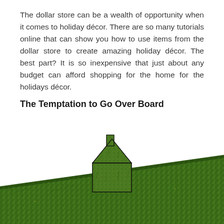The dollar store can be a wealth of opportunity when it comes to holiday décor. There are so many tutorials online that can show you how to use items from the dollar store to create amazing holiday décor. The best part? It is so inexpensive that just about any budget can afford shopping for the home for the holidays décor.
The Temptation to Go Over Board
[Figure (photo): A house silhouette shape and a large angled surface both covered with green grass/turf texture, set against a white background. The grass-covered house shape is in the center-upper portion, and a large grass-covered diagonal plane extends across the lower portion of the image.]